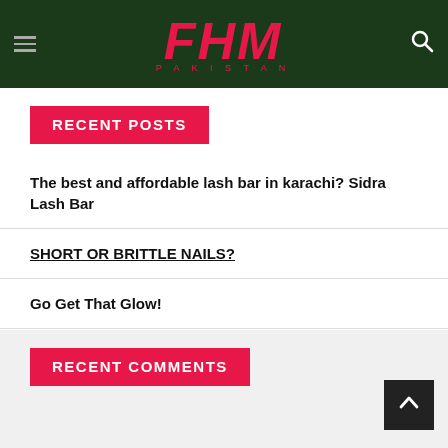FHM PAKISTAN
RECENT POSTS
The best and affordable lash bar in karachi? Sidra Lash Bar
SHORT OR BRITTLE NAILS?
Go Get That Glow!
PUBG MOBILE Launches Gully Squad ‘Be The Hero’ Campaign
Zayn Malik surprises fans
RECENT COMMENTS